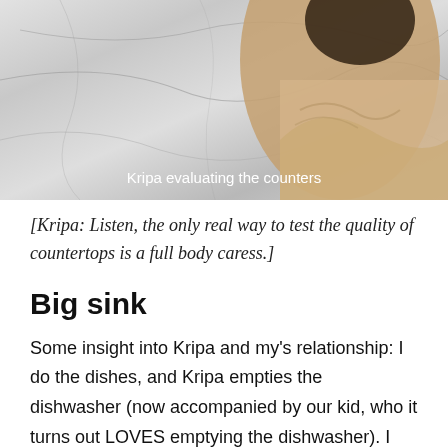[Figure (photo): Person (Kripa) leaning over marble countertops, viewed from above/side. The countertops have a white and grey marble appearance. A caption overlay reads 'Kripa evaluating the counters'.]
Kripa evaluating the counters
[Kripa: Listen, the only real way to test the quality of countertops is a full body caress.]
Big sink
Some insight into Kripa and my's relationship: I do the dishes, and Kripa empties the dishwasher (now accompanied by our kid, who it turns out LOVES emptying the dishwasher). I hate that whenever we cook, our current sink immediately seems full – so I